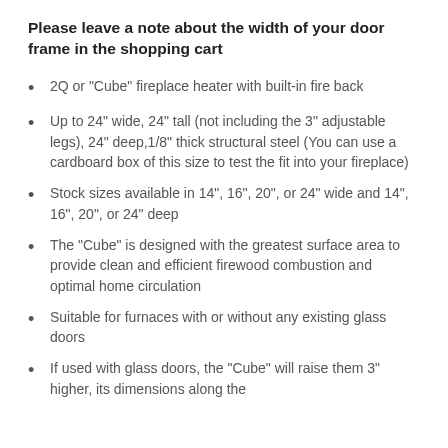Please leave a note about the width of your door frame in the shopping cart
2Q or "Cube" fireplace heater with built-in fire back
Up to 24" wide, 24" tall (not including the 3" adjustable legs), 24" deep,1/8" thick structural steel (You can use a cardboard box of this size to test the fit into your fireplace)
Stock sizes available in 14", 16", 20", or 24" wide and 14", 16", 20", or 24" deep
The "Cube" is designed with the greatest surface area to provide clean and efficient firewood combustion and optimal home circulation
Suitable for furnaces with or without any existing glass doors
If used with glass doors, the "Cube" will raise them 3" higher, its dimensions along the...